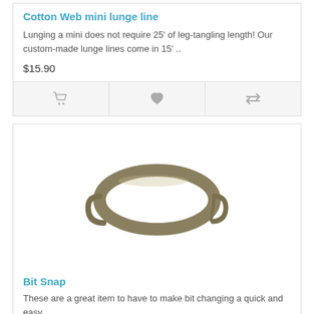Cotton Web mini lunge line
Lunging a mini does not require 25' of leg-tangling length! Our custom-made lunge lines come in 15' ..
$15.90
[Figure (other): Action bar with cart, heart/wishlist, and compare icons]
[Figure (photo): Photo of a metal bit snap clasp/hook on white background]
Bit Snap
These are a great item to have to make bit changing a quick and easy